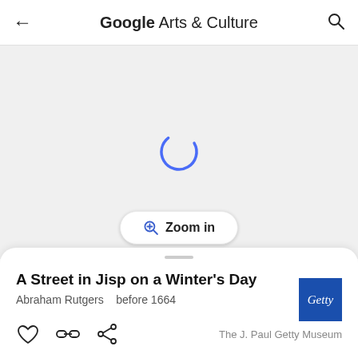Google Arts & Culture
[Figure (screenshot): Loading spinner (blue arc) shown in a light gray image area. A 'Zoom in' button with magnifier icon is overlaid at the bottom center.]
A Street in Jisp on a Winter's Day
Abraham Rutgers   before 1664
[Figure (logo): Getty museum square blue logo with white italic 'Getty' text]
The J. Paul Getty Museum